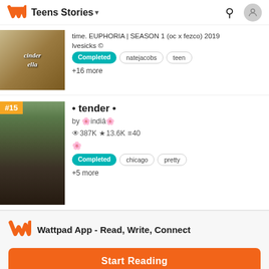Teens Stories
time. EUPHORIA | SEASON 1 (oc x fezco) 2019
lvesicks ©
Completed  natejacobs  teen
+16 more
• tender •
by 🌸indiâ🌸
🔍387K ⭐13.6K≡40
🌸
Completed  chicago  pretty
+5 more
Wattpad App - Read, Write, Connect
Start Reading
Log in with Browser